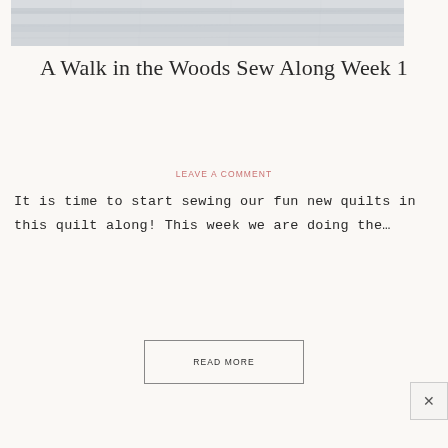[Figure (photo): A top portion of a whitewashed or weathered light-colored wooden surface, slightly textured and pale gray-white, serving as a hero image.]
A Walk in the Woods Sew Along Week 1
LEAVE A COMMENT
It is time to start sewing our fun new quilts in this quilt along! This week we are doing the…
READ MORE